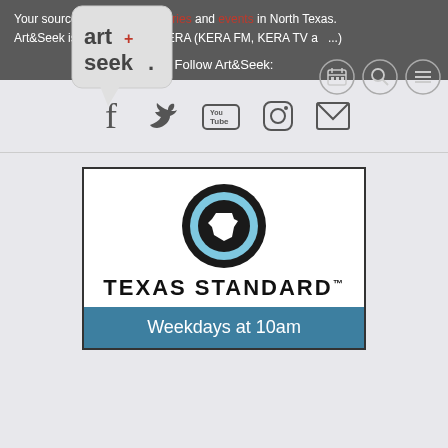Your source for arts news, stories and events in North Texas. Art&Seek is a service from KERA (KERA FM, KERA TV and...)
[Figure (logo): Art&Seek speech bubble logo with stylized text]
[Figure (infographic): Navigation icons: calendar, search, menu (hamburger) in circles]
Follow Art&Seek:
[Figure (infographic): Social media icons: Facebook, Twitter, YouTube, Instagram, Email]
[Figure (infographic): Texas Standard advertisement banner with logo and text 'Weekdays at 10am']